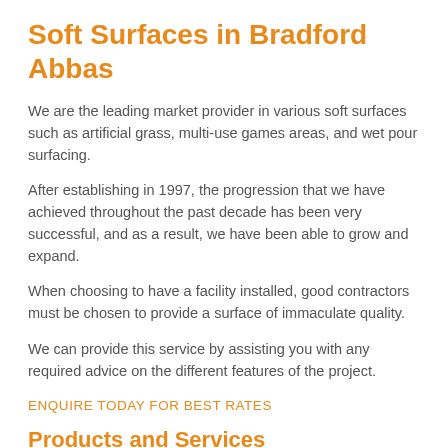Soft Surfaces in Bradford Abbas
We are the leading market provider in various soft surfaces such as artificial grass, multi-use games areas, and wet pour surfacing.
After establishing in 1997, the progression that we have achieved throughout the past decade has been very successful, and as a result, we have been able to grow and expand.
When choosing to have a facility installed, good contractors must be chosen to provide a surface of immaculate quality.
We can provide this service by assisting you with any required advice on the different features of the project.
ENQUIRE TODAY FOR BEST RATES
Products and Services
Our products and services are developed based on the demands of our clients. It is crucial that the client is happy with the service that